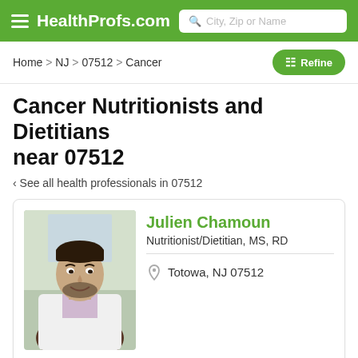HealthProfs.com
Home > NJ > 07512 > Cancer
Cancer Nutritionists and Dietitians near 07512
< See all health professionals in 07512
[Figure (photo): Profile photo of Julien Chamoun, a man in a white coat smiling]
Julien Chamoun
Nutritionist/Dietitian, MS, RD
Totowa, NJ 07512
My name is Julien, and I am a Registered Dietitian with a masters in nutrition education. I have extensive experience working in a clinical setting with all age groups, ethnicities,